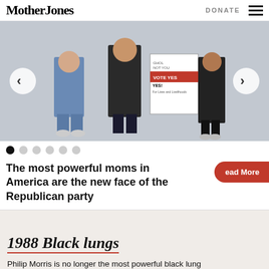Mother Jones  DONATE
[Figure (photo): People standing holding protest signs including one that reads VOTE YES for Lives and Livelihoods, with navigation arrows on left and right sides of the image slideshow]
● ○ ○ ○ ○ ○ (slideshow pagination dots)
The most powerful moms in America are the new face of the Republican party
1988 Black lungs
Philip Morris is no longer the most powerful black lung